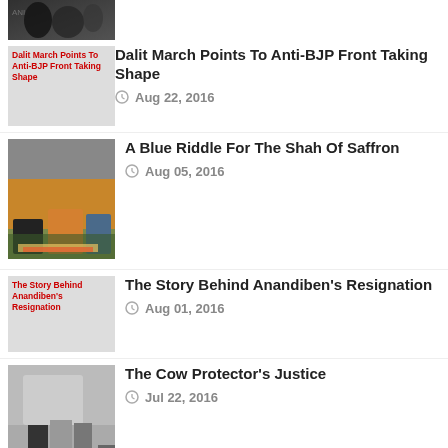[Figure (photo): Partial top image of article (cropped, showing dark figures)]
[Figure (illustration): Thumbnail placeholder: Dalit March Points To Anti-BJP Front Taking Shape]
Dalit March Points To Anti-BJP Front Taking Shape
Aug 22, 2016
[Figure (photo): Photo of political leaders on stage with garlands and flowers]
A Blue Riddle For The Shah Of Saffron
Aug 05, 2016
[Figure (illustration): Thumbnail placeholder: The Story Behind Anandiben's Resignation]
The Story Behind Anandiben's Resignation
Aug 01, 2016
[Figure (photo): Photo of men standing near a vehicle, cow protection context]
The Cow Protector's Justice
Jul 22, 2016
[Figure (illustration): Thumbnail placeholder: Patel Rap Gets Parshottam Into]
Patel Rap Gets Parshottam Into